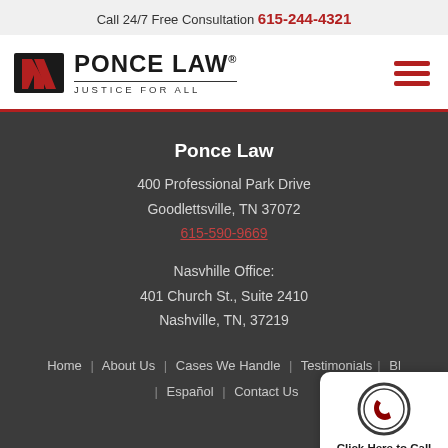Call 24/7 Free Consultation 615-244-4321
[Figure (logo): Ponce Law logo with red PL monogram icon and text PONCE LAW JUSTICE FOR ALL]
Ponce Law
400 Professional Park Drive
Goodlettsville, TN 37072
615-590-9669
Nasvhille Office:
401 Church St., Suite 2410
Nashville, TN, 37219
Home | About Us | Cases We Handle | Testimonials | Bl | Español | Contact Us